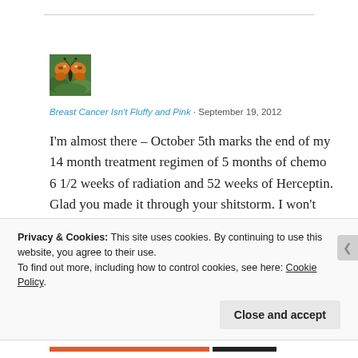[Figure (photo): Small thumbnail image of a butterfly (orange and brown) on green foliage, used as a blog avatar.]
Breast Cancer Isn't Fluffy and Pink · September 19, 2012
I'm almost there – October 5th marks the end of my 14 month treatment regimen of 5 months of chemo 6 1/2 weeks of radiation and 52 weeks of Herceptin. Glad you made it through your shitstorm. I won't miss the chemo room or the
Privacy & Cookies: This site uses cookies. By continuing to use this website, you agree to their use.
To find out more, including how to control cookies, see here: Cookie Policy
Close and accept